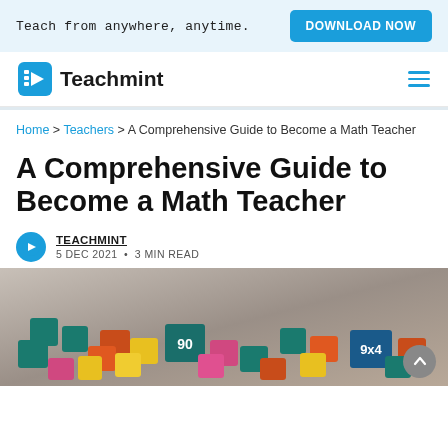Teach from anywhere, anytime. | DOWNLOAD NOW
[Figure (logo): Teachmint logo with blue book icon and wordmark]
Home > Teachers > A Comprehensive Guide to Become a Math Teacher
A Comprehensive Guide to Become a Math Teacher
TEACHMINT
5 DEC 2021 • 3 MIN READ
[Figure (photo): Colorful wooden number blocks, some showing '90' and '9x4']